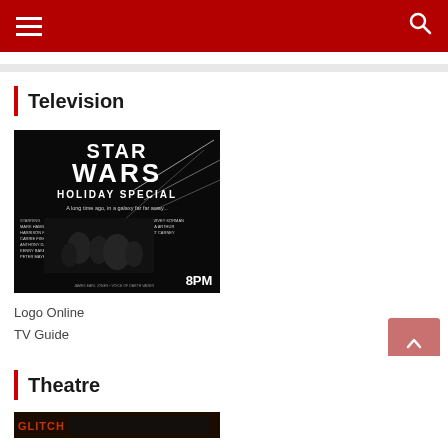Navigation bar with hamburger menu and search icon
Television
[Figure (photo): Star Wars Holiday Special TV Guide advertisement poster, black and white, showing text 'STAR WARS HOLIDAY SPECIAL - A long time ago, in a galaxy far far away...' with cast listing and '8PM' at the bottom right]
Logo Online
TV Guide
Theatre